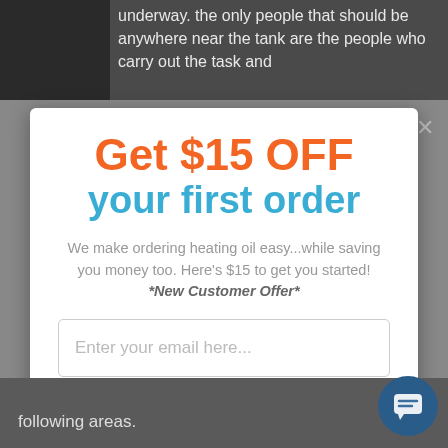underway. the only people that should be anywhere near the tank are the people who carry out the task and
Get $15 OFF your first order
We make ordering heating oil easy...while saving you money too. Here's $15 to get you started! *New Customer Offer*
Enter your email here...
View discount code
following areas.